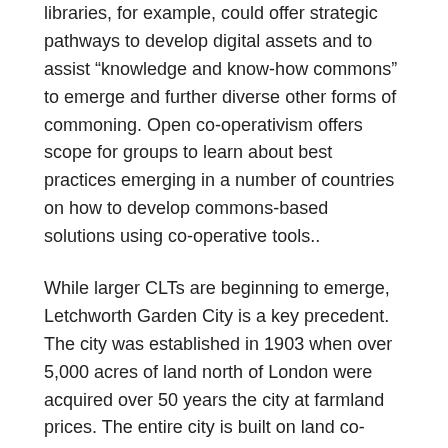libraries, for example, could offer strategic pathways to develop digital assets and to assist “knowledge and know-how commons” to emerge and further diverse other forms of commoning. Open co-operativism offers scope for groups to learn about best practices emerging in a number of countries on how to develop commons-based solutions using co-operative tools..
While larger CLTs are beginning to emerge, Letchworth Garden City is a key precedent. The city was established in 1903 when over 5,000 acres of land north of London were acquired over 50 years the city at farmland prices. The entire city is built on land co-operatively owned by the city residents. All the utilities were municipally owned until 1945, and this income and the economic rents paid by the businesses in the town made Letchworth economically resilient. While the utilities and much of housing was demutualised after 1979, the Letchworth City Heritage Foundation continues to own most of the commercial land in the city and uses the profit on this portfolio to